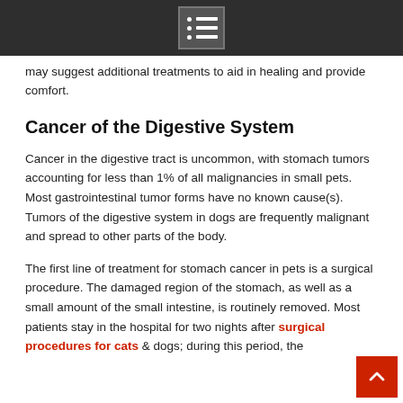[menu icon]
may suggest additional treatments to aid in healing and provide comfort.
Cancer of the Digestive System
Cancer in the digestive tract is uncommon, with stomach tumors accounting for less than 1% of all malignancies in small pets. Most gastrointestinal tumor forms have no known cause(s). Tumors of the digestive system in dogs are frequently malignant and spread to other parts of the body.
The first line of treatment for stomach cancer in pets is a surgical procedure. The damaged region of the stomach, as well as a small amount of the small intestine, is routinely removed. Most patients stay in the hospital for two nights after surgical procedures for cats & dogs; during this period, the